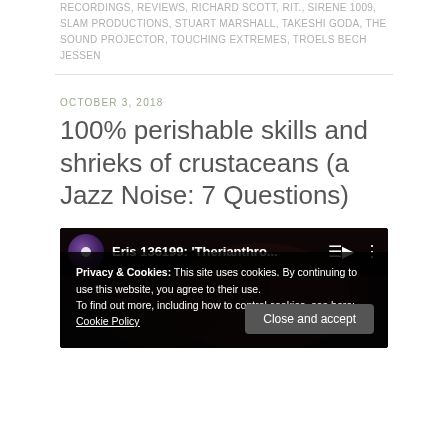RECORDINGS, REVIEWS, RICHARD SCOTT, RIT., SIRENE 1009, SLAM PRODUCTIONS, STUART MARSHALL, TAKESHI GODA, THE SOUND PROJECTOR, TOUCHING EXTREMES, TROELS BECH JESSEN
OCTOBER 3, 2018
100% perishable skills and shrieks of crustaceans (a Jazz Noise: 7 Questions)
[Figure (screenshot): Embedded YouTube video player showing 'Eris 136199: Therianthro...' with a YouTube playlist icon and kebab menu icon in the top bar, over a dark reddish background image of musicians.]
Privacy & Cookies: This site uses cookies. By continuing to use this website, you agree to their use.
To find out more, including how to control cookies, see here: Cookie Policy
Close and accept